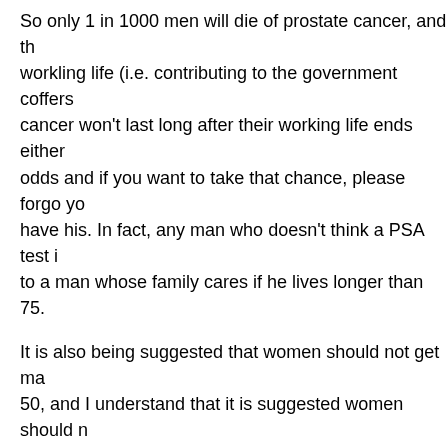So only 1 in 1000 men will die of prostate cancer, and th... workling life (i.e. contributing to the government coffers... cancer won't last long after their working life ends either... odds and if you want to take that chance, please forgo yo... have his. In fact, any man who doesn't think a PSA test i... to a man whose family cares if he lives longer than 75.
It is also being suggested that women should not get ma... 50, and I understand that it is suggested women should n... age of 65.
BTW for anyone who does not know, the mammogram a... considered to be a 'baseline' mammogram. If there is no... developing, there will be no way to compare what is nor... course, if the cancer is left to grow until age 50, the life... soon anyway.
And most breast cancers, per a ammogram imaging tech... 65.
The government will however authorize pain pills to eas... suffering.
May 22, 2012 at 11:13 | Report abuse |
8. topaz114